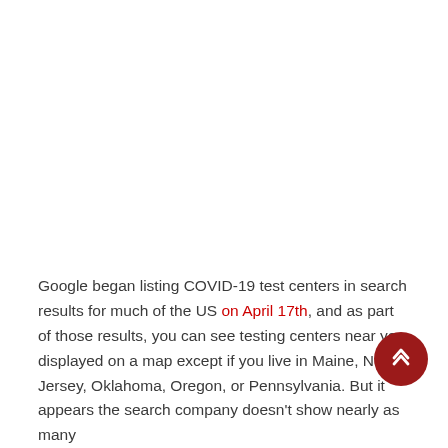Google began listing COVID-19 test centers in search results for much of the US on April 17th, and as part of those results, you can see testing centers near you displayed on a map except if you live in Maine, New Jersey, Oklahoma, Oregon, or Pennsylvania. But it appears the search company doesn't show nearly as many